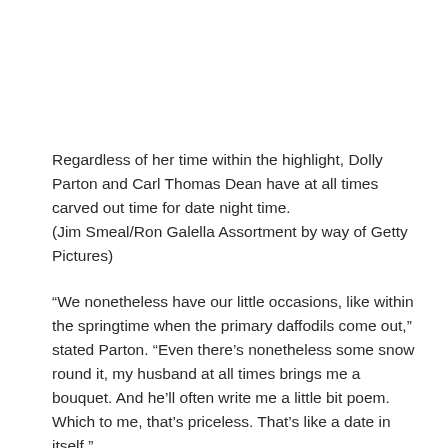Regardless of her time within the highlight, Dolly Parton and Carl Thomas Dean have at all times carved out time for date night time.
(Jim Smeal/Ron Galella Assortment by way of Getty Pictures)
“We nonetheless have our little occasions, like within the springtime when the primary daffodils come out,” stated Parton. “Even there’s nonetheless some snow round it, my husband at all times brings me a bouquet. And he’ll often write me a little bit poem. Which to me, that’s priceless. That’s like a date in itself.”